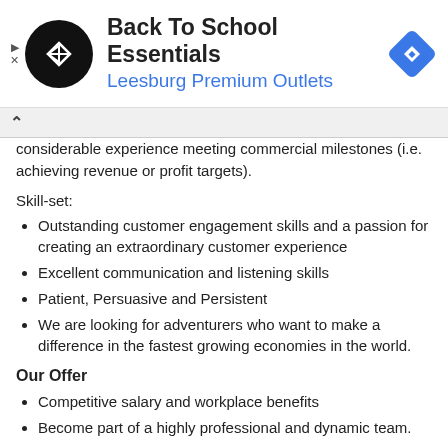[Figure (logo): Ad banner for Back To School Essentials at Leesburg Premium Outlets with black circular logo and blue diamond icon]
considerable experience meeting commercial milestones (i.e. achieving revenue or profit targets).
Skill-set:
Outstanding customer engagement skills and a passion for creating an extraordinary customer experience
Excellent communication and listening skills
Patient, Persuasive and Persistent
We are looking for adventurers who want to make a difference in the fastest growing economies in the world.
Our Offer
Competitive salary and workplace benefits
Become part of a highly professional and dynamic team.
An unparalleled personal and professional growth as our longer-term objective is to train the next generation of leaders for country-changing ventures.